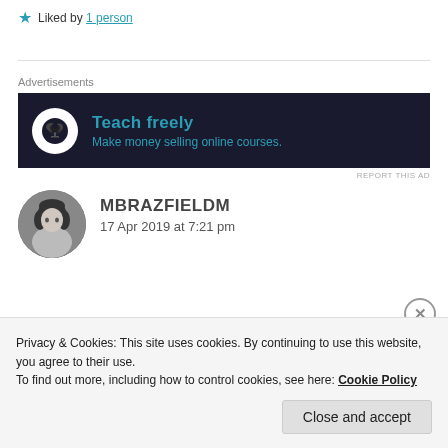★ Liked by 1 person
Advertisements
[Figure (other): Advertisement banner for online course platform: dark background with white circular icon showing a tree/person symbol, teal text reading 'Teach freely' and 'Make money selling online courses.']
REPORT THIS AD
[Figure (photo): Circular avatar photo of a person with dark hair against a light background]
MBRAZFIELDM
17 Apr 2019 at 7:21 pm
Privacy & Cookies: This site uses cookies. By continuing to use this website, you agree to their use.
To find out more, including how to control cookies, see here: Cookie Policy
Close and accept